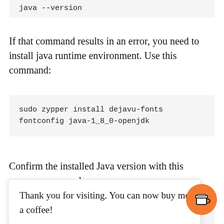[Figure (screenshot): Code block at top of page showing truncated 'java --version' command output in a grey box]
If that command results in an error, you need to install java runtime environment. Use this command:
[Figure (screenshot): Code block showing: sudo zypper install dejavu-fonts fontconfig java-1_8_0-openjdk]
Confirm the installed Java version with this command:
Thank you for visiting. You can now buy me a coffee!
[Figure (screenshot): Code block showing: openjdk version "11.0.13" 2021-10-19]